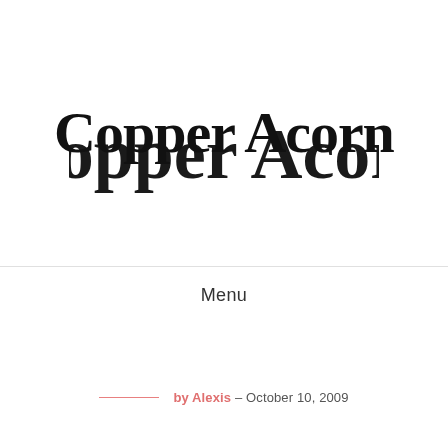Copper Acorn
Menu
by Alexis – October 10, 2009